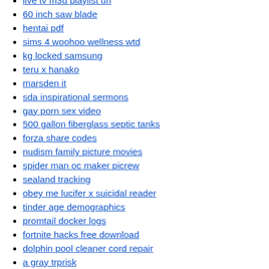live tv m3u playlist url
60 inch saw blade
hentai pdf
sims 4 woohoo wellness wtd
kg locked samsung
teru x hanako
marsden it
sda inspirational sermons
gay porn sex video
500 gallon fiberglass septic tanks
forza share codes
nudism family picture movies
spider man oc maker picrew
sealand tracking
obey me lucifer x suicidal reader
tinder age demographics
promtail docker logs
fortnite hacks free download
dolphin pool cleaner cord repair
a gray trprisk
zlt p28 router unlock firmware download
honey select 2 download 2021
return youtube dislikes firefox
choctaw nation covid relief
msr x6 software download free